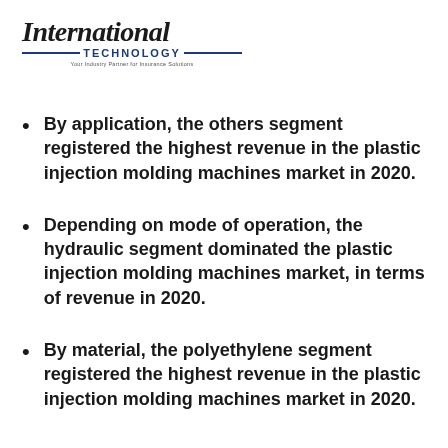[Figure (logo): International Technology logo with italic serif 'International' text above a line-flanked 'TECHNOLOGY' text in navy blue, and a small tagline below]
By application, the others segment registered the highest revenue in the plastic injection molding machines market in 2020.
Depending on mode of operation, the hydraulic segment dominated the plastic injection molding machines market, in terms of revenue in 2020.
By material, the polyethylene segment registered the highest revenue in the plastic injection molding molding machines market in 2020.